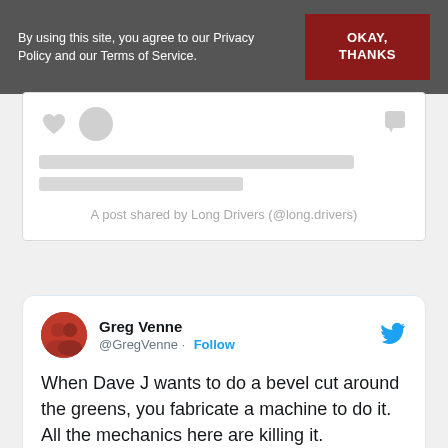By using this site, you agree to our Privacy Policy and our Terms of Service.
OKAY, THANKS
[Figure (screenshot): Instagram post placeholder with loading skeleton bars and credit text: A post shared by Long Drivers (@long.drivers)]
A post shared by Long Drivers (@long.drivers)
Greg Venne @GregVenne · Follow
When Dave J wants to do a bevel cut around the greens, you fabricate a machine to do it. All the mechanics here are killing it. @usopengolf #USOpen2020